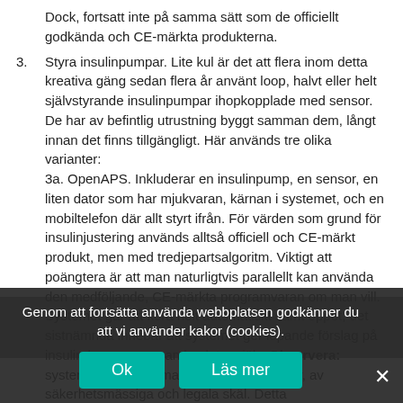Dock, fortsatt inte på samma sätt som de officiellt godkända och CE-märkta produkterna.
3. Styra insulinpumpar. Lite kul är det att flera inom detta kreativa gäng sedan flera år använt loop, halvt eller helt självstyrande insulinpumpar ihopkopplade med sensor. De har av befintlig utrustning byggt samman dem, långt innan det finns tillgängligt. Här används tre olika varianter: 3a. OpenAPS. Inkluderar en insulinpump, en sensor, en liten dator som har mjukvaran, kärnan i systemet, och en mobiltelefon där allt styrt ifrån. För värden som grund för insulinjustering används alltså officiell och CE-märkt produkt, men med tredjepartsalgoritm. Viktigt att poängtera är att man naturligtvis parallellt kan använda den medföljande, CE-märkta programvaran om man vill. Systemet går att köra helt automatiskt samt öppet, det sistnämnda innebär att systemet ger löpande förslag på insulindoser, men man beslutar själv. Observera: systemet sätts samman av användare själv, av säkerhetsmässiga och legala skäl. Detta rekommenderas inte över huvudtaget om man inte är tekniskt kunnig, man måste veta vad man gör. 3b. AndroidAPS. Likt ovan (men här körs allt från en android-telefon, ingen extra dator behövs. 3c. Loop. Körs i iPhone, med fördel används som nav för sensor likväl. Den
Genom att fortsätta använda webbplatsen godkänner du att vi använder kakor (cookies).